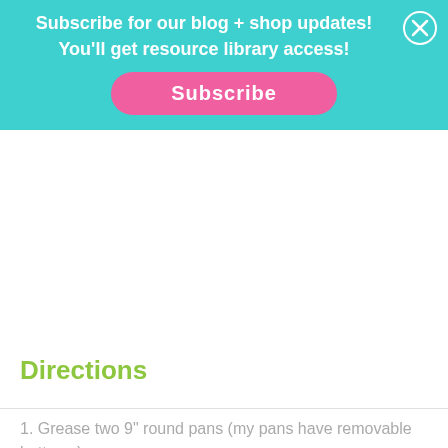Subscribe for our blog + shop updates! You'll get resource library access!
[Figure (other): Pink rounded Subscribe button on teal/turquoise background banner]
Directions
1. Grease two 9" round pans (my pans have removable bottoms).